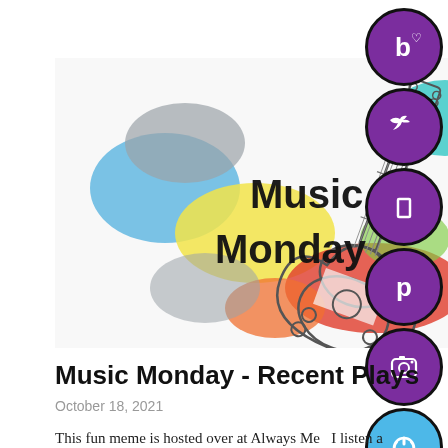[Figure (illustration): Music Monday banner image with colorful paint splashes (blue, red, yellow, green, teal, gray) and a guitar outline in the center. Bold black text reads 'Music Monday'.]
[Figure (other): Vertical column of social media icon buttons on the right side: Bloglovin (b with heart), Twitter (bird), Instagram (rectangle/camera icon), Pinterest (P), Instagram camera, and a blue power/podcast button.]
Music Monday - Recent Plays
October 18, 2021
This fun meme is hosted over at Always Me   I listen a lot of music over this past week because I've been on fall